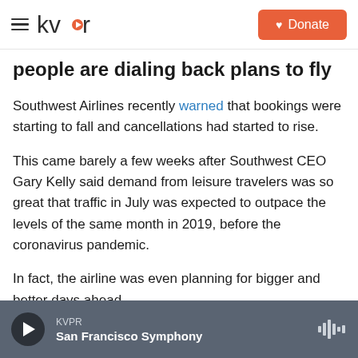KVPR — Donate
people are dialing back plans to fly
Southwest Airlines recently warned that bookings were starting to fall and cancellations had started to rise.
This came barely a few weeks after Southwest CEO Gary Kelly said demand from leisure travelers was so great that traffic in July was expected to outpace the levels of the same month in 2019, before the coronavirus pandemic.
In fact, the airline was even planning for bigger and better days ahead.
KVPR — San Francisco Symphony